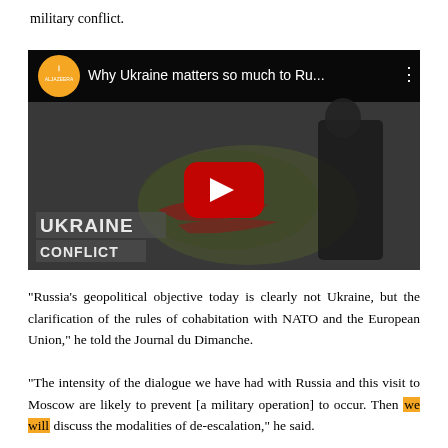military conflict.
[Figure (screenshot): Al Jazeera YouTube video thumbnail titled 'Why Ukraine matters so much to Ru...' showing a man in black clothing leaning over a wreath, with 'UKRAINE CONFLICT' text overlay and a red YouTube play button in the center.]
“Russia’s geopolitical objective today is clearly not Ukraine, but the clarification of the rules of cohabitation with NATO and the European Union,” he told the Journal du Dimanche.
“The intensity of the dialogue we have had with Russia and this visit to Moscow are likely to prevent [a military operation] to occur. Then we will discuss the modalities of de-escalation,” he said.